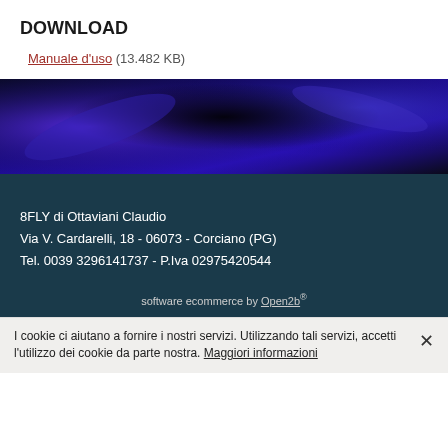DOWNLOAD
Manuale d'uso (13.482 KB)
[Figure (photo): Dark blue/purple gradient banner image with glowing light streaks]
8FLY di Ottaviani Claudio
Via V. Cardarelli, 18 - 06073 - Corciano (PG)
Tel. 0039 3296141737 - P.Iva 02975420544
software ecommerce by Open2b®
I cookie ci aiutano a fornire i nostri servizi. Utilizzando tali servizi, accetti l'utilizzo dei cookie da parte nostra. Maggiori informazioni